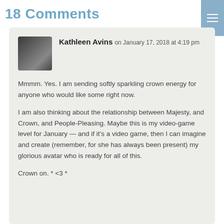18 Comments
Kathleen Avins on January 17, 2018 at 4:19 pm

Mmmm. Yes. I am sending softly sparkling crown energy for anyone who would like some right now.

I am also thinking about the relationship between Majesty, and Crown, and People-Pleasing. Maybe this is my video-game level for January — and if it's a video game, then I can imagine and create (remember, for she has always been present) my glorious avatar who is ready for all of this.

Crown on. * <3 *